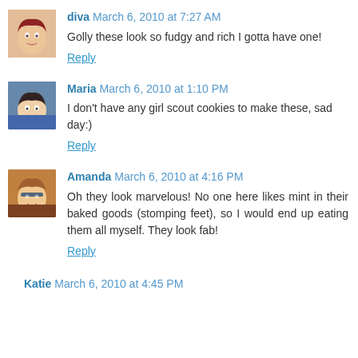[Figure (photo): Avatar image for user diva - cartoon woman with red hair]
diva March 6, 2010 at 7:27 AM
Golly these look so fudgy and rich I gotta have one!
Reply
[Figure (photo): Avatar image for user Maria - woman in blue]
Maria March 6, 2010 at 1:10 PM
I don't have any girl scout cookies to make these, sad day:)
Reply
[Figure (photo): Avatar image for user Amanda - woman with sunglasses]
Amanda March 6, 2010 at 4:16 PM
Oh they look marvelous! No one here likes mint in their baked goods (stomping feet), so I would end up eating them all myself. They look fab!
Reply
Katie March 6, 2010 at 4:45 PM